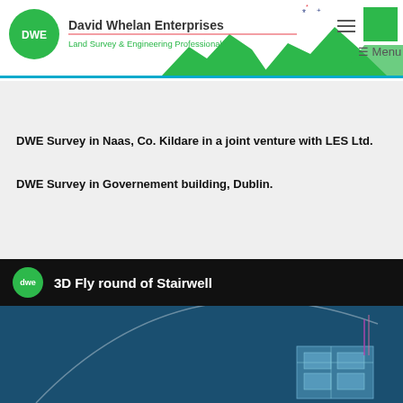[Figure (logo): David Whelan Enterprises header with DWE green circle logo, company name, tagline 'Land Survey & Engineering Professionals', decorative mountain silhouettes, and navigation menu button]
DWE Survey in Naas, Co. Kildare in a joint venture with LES Ltd.
DWE Survey in Governement building, Dublin.
[Figure (screenshot): Video thumbnail showing '3D Fly round of Stairwell' with dwe green logo and an aerial 3D rendering of a building stairwell on a blue background]